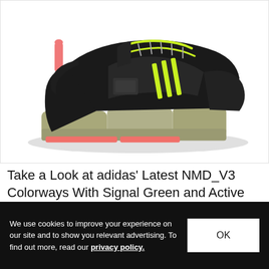[Figure (photo): Adidas NMD_V3 sneaker in black colorway with olive/grey chunky midsole pods, pink/coral outsole, yellow-green accent stripes on the upper and laces, and a pink heel pull tab. Shoe is shown in profile (side view) against a white background.]
Take a Look at adidas' Latest NMD_V3 Colorways With Signal Green and Active Purple Hues
We use cookies to improve your experience on our site and to show you relevant advertising. To find out more, read our privacy policy.